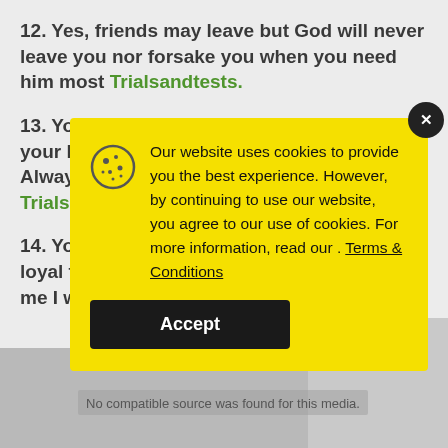12. Yes, friends may leave but God will never leave you nor forsake you when you need him most Trialsandtests.
13. You can... your life w... Always le... Trialsandte...
14. You ca... loyal to yo... me I was a...
[Figure (screenshot): Cookie consent modal overlay on yellow background with cookie icon, text about website cookies usage, Terms & Conditions underlined link, and Accept button. Also shows a 'No compatible source was found for this media.' gray overlay message.]